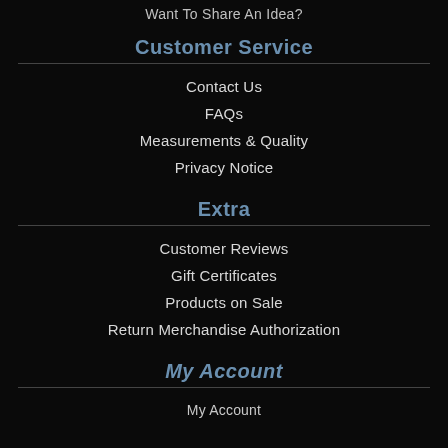Want To Share An Idea?
Customer Service
Contact Us
FAQs
Measurements & Quality
Privacy Notice
Extra
Customer Reviews
Gift Certificates
Products on Sale
Return Merchandise Authorization
My Account
My Account